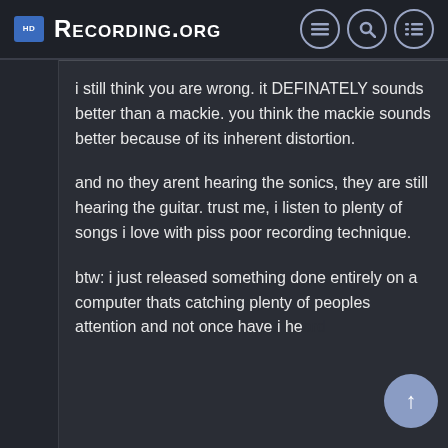Recording.org
i still think you are wrong. it DEFINATELY sounds better than a mackie. you think the mackie sounds better because of its inherent distortion.
and no they arent hearing the sonics, they are still hearing the guitar. trust me, i listen to plenty of songs i love with piss poor recording technique.
btw: i just released something done entirely on a computer thats catching plenty of peoples attention and not once have i he "sounds like it was mixed on a computer"